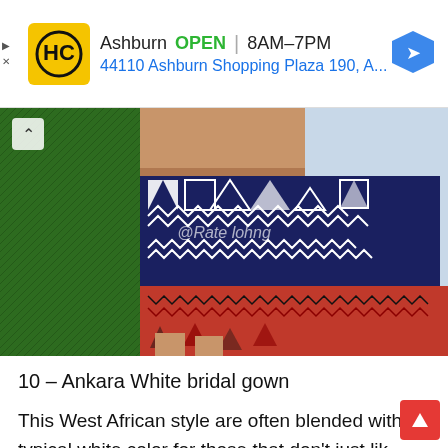[Figure (infographic): Advertisement banner for HC (Home Depot or similar store) in Ashburn showing OPEN status, hours 8AM-7PM, and address 44110 Ashburn Shopping Plaza 190, A...]
[Figure (photo): Photo of a woman wearing an Ankara kente-style dress with navy/white geometric patchwork pattern on top and red/black pattern on the bottom, standing in front of green grass and light blue/white background. Watermark reads @Ra...e...lo...h...ng]
10 – Ankara White bridal gown
This West African style are often blended with typical white color for those that don't just like the striking reminder Ankara fabric to offer it a